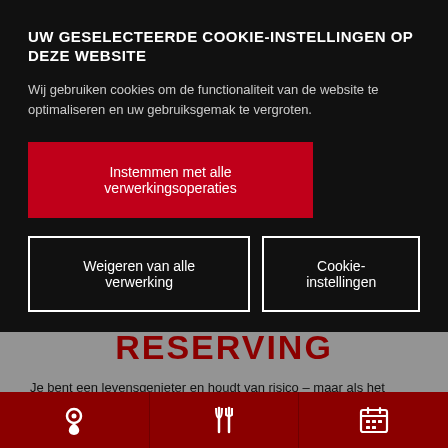UW GESELECTEERDE COOKIE-INSTELLINGEN OP DEZE WEBSITE
Wij gebruiken cookies om de functionaliteit van de website te optimaliseren en uw gebruiksgemak te vergroten.
Instemmen met alle verwerkingsoperaties
Weigeren van alle verwerking
Cookie-instellingen
RESERVING
Je bent een levensgenieter en houdt van risico – maar als het aankomt op eten (de lunch) of een perfect avondje uit, ben je goed voorbereid
[Figure (infographic): Bottom navigation bar with three icons: location pin, fork/knife, and calendar, on dark red background]